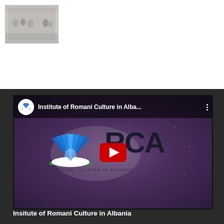[Figure (photo): Small thumbnail image showing a group of people, grayscale/sepia tone, positioned in top-left corner on white background]
[Figure (screenshot): YouTube video player embed showing 'Institute of Romani Culture in Alba...' with IRCA logo (blue fan/sun symbol with RCA letters in dark red/black on purple starry background). Red YouTube play button in center. Channel avatar visible in top-left of player.]
Insitute of Romani Culture in Albania